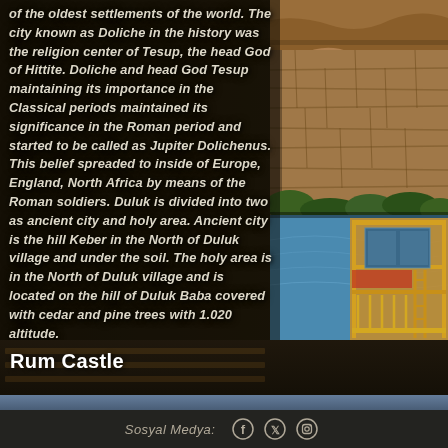of the oldest settlements of the world. The city known as Doliche in the history was the religion center of Tesup, the head God of Hittite. Doliche and head God Tesup maintaining its importance in the Classical periods maintained its significance in the Roman period and started to be called as Jupiter Dolichenus. This belief spreaded to inside of Europe, England, North Africa by means of the Roman soldiers. Duluk is divided into two as ancient city and holy area. Ancient city is the hill Keber in the North of Duluk village and under the soil. The holy area is in the North of Duluk village and is located on the hill of Duluk Baba covered with cedar and pine trees with 1.020 altitude.
[Figure (photo): Rocky cliff face with ancient stone wall, and below it a colorful wooden dock/pier structure over blue water]
Rum Castle
Sosyal Medya: [Facebook] [Twitter] [Instagram]